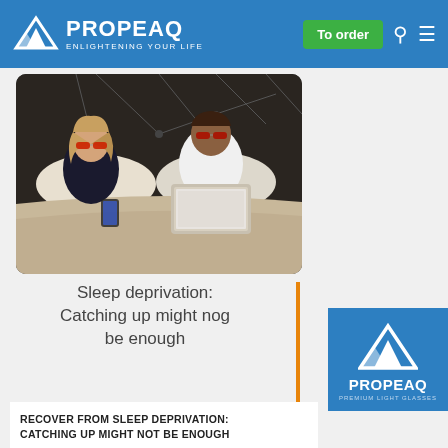PROPEAQ ENLIGHTENING YOUR LIFE — To order
[Figure (photo): A couple lying in bed, both wearing red/dark protective glasses. The woman on the left holds a phone, the man on the right uses a laptop. Geometric line art decorates the headboard wall behind them.]
Sleep deprivation: Catching up might nog be enough
[Figure (logo): PROPEAQ PREMIUM LIGHT GLASSES logo with white mountain/arrow icon on blue background]
RECOVER FROM SLEEP DEPRIVATION: CATCHING UP MIGHT NOT BE ENOUGH